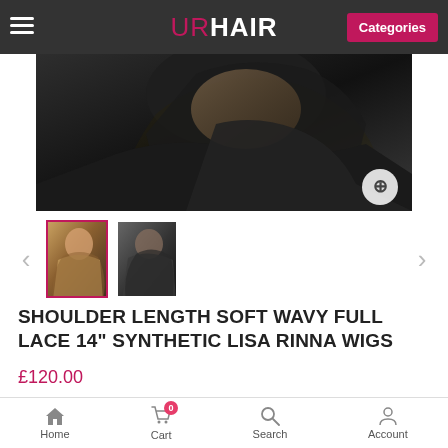URHAIR — Categories
[Figure (photo): Close-up product photo on dark background showing shoulder-length wavy hair wig, with a zoom icon in the bottom right corner]
[Figure (photo): Two thumbnail images: first selected thumbnail showing a woman with shoulder-length wavy blonde/ombre hair; second thumbnail showing dark wavy hair from behind]
SHOULDER LENGTH SOFT WAVY FULL LACE 14" SYNTHETIC LISA RINNA WIGS
£120.00
SIZE: *
Average(A)
Home  Cart  0  Search  Account